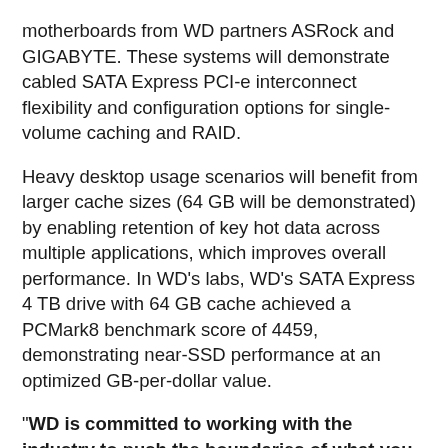motherboards from WD partners ASRock and GIGABYTE. These systems will demonstrate cabled SATA Express PCI-e interconnect flexibility and configuration options for single-volume caching and RAID.
Heavy desktop usage scenarios will benefit from larger cache sizes (64 GB will be demonstrated) by enabling retention of key hot data across multiple applications, which improves overall performance. In WD's labs, WD's SATA Express 4 TB drive with 64 GB cache achieved a PCMark8 benchmark score of 4459, demonstrating near-SSD performance at an optimized GB-per-dollar value.
"WD is committed to working with the industry to push the boundaries of what you might expect from a traditional hard drive," said Matt Rutledge, senior vice president, Storage Technology, WD. "By moving to PCI Express, the industry marries the world's most popular storage bus with the world's most popular